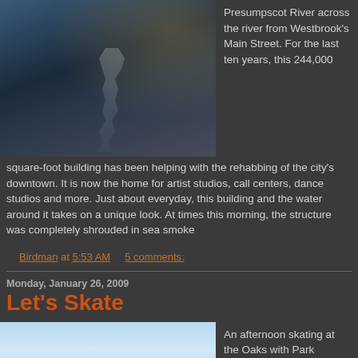[Figure (photo): Misty/foggy view of a building near the Presumpscot River, dark blue-grey tones with bare trees visible through the fog]
Presumpscot River across the river from Westbrook's Main Street. For the last ten years, this 244,000 square-foot building has been helping with the rehabbing of the city's downtown. It is now the home for artist studios, call centers, dance studios and more. Just about everyday, this building and the water around it takes on a unique look. At times this morning, the structure was completely shrouded in sea smoke
Birdman at 5:53 AM    5 comments:
Monday, January 26, 2009
Let's Skate
[Figure (photo): Outdoor skating rink at the Oaks, light blue sky visible]
An afternoon skating at the Oaks with Park